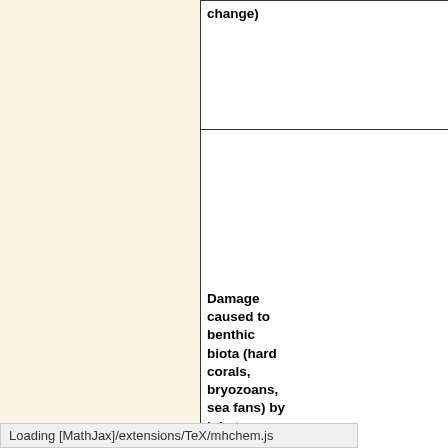| change) |  | causing distribution shift in lobster |
| Damage caused to benthic biota (hard corals, bryozoans, sea fans) by lobster fishing gear | Benthic community composition; species diversity; visible damage | Future: undertake experiments and monitoring (compare fished and unfished areas) to assess damage by fishing gear to benthic biota. If damage is caused |
Loading [MathJax]/extensions/TeX/mhchem.js